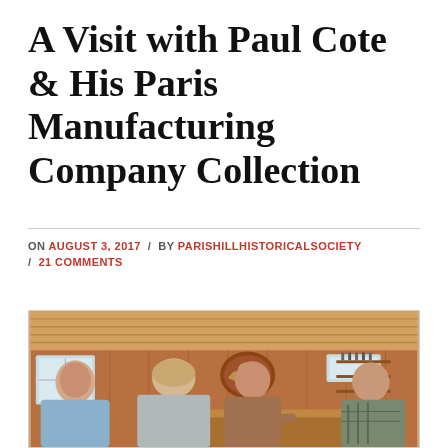A Visit with Paul Cote & His Paris Manufacturing Company Collection
ON AUGUST 3, 2017 / BY PARISHILLHISTORICALSOCIETY / 21 COMMENTS
[Figure (photo): Four people gathered inside a wooden cabin-style room with pine walls and ceiling, discussing around a wooden counter. An eagle emblem is mounted on the wall behind them. Shelves with items are visible in the background.]